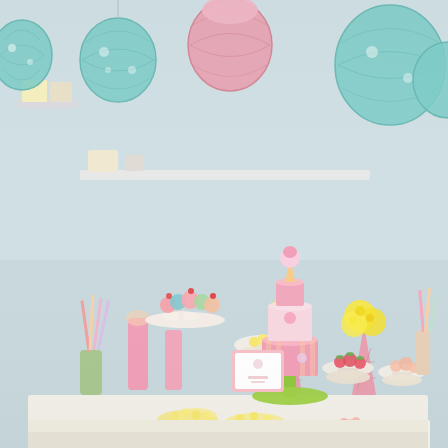[Figure (photo): A pastel-themed dessert table party setup. Hanging from the ceiling are teal/mint and pink paper lanterns and a pink tissue pom-pom. On a white table are arrayed: pink and yellow flowers in ice-cream-cone-shaped pink vases, a multi-tiered pink and green cake with an ice cream cone topper on a green cake stand, cupcakes on a tiered stand, candy sticks in vases, small pink macarons/cookies lined along the table edge, yellow popcorn, a pink-framed sign card, bowls of strawberries, and various pastel-colored sweets and desserts. The table has white legs/frame. The background is a light blue-white wall with a white shelf.]